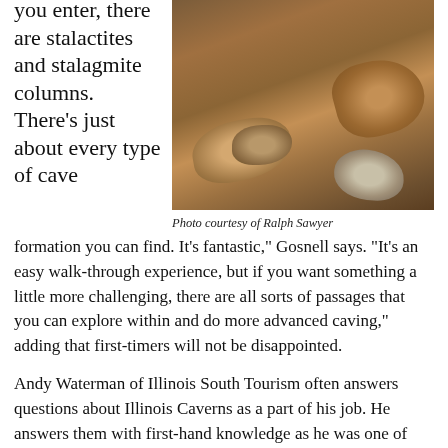you enter, there are stalactites and stalagmite columns. There's just about every type of cave
[Figure (photo): Close-up photo of cave rock formations with stalactites and stalagmites, brown and orange tones]
Photo courtesy of Ralph Sawyer
formation you can find. It's fantastic," Gosnell says. "It's an easy walk-through experience, but if you want something a little more challenging, there are all sorts of passages that you can explore within and do more advanced caving," adding that first-timers will not be disappointed.
Andy Waterman of Illinois South Tourism often answers questions about Illinois Caverns as a part of his job. He answers them with first-hand knowledge as he was one of those first-timers not long ago.